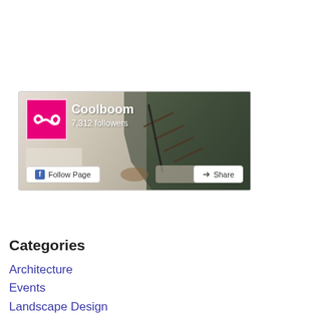[Figure (screenshot): Facebook page widget for 'Coolboom' showing a cover photo of a modern interior with staircase, profile logo (pink with infinity symbol), page name 'Coolboom', '7,312 followers', and two buttons: 'Follow Page' and 'Share'.]
Categories
Architecture
Events
Landscape Design
Materials